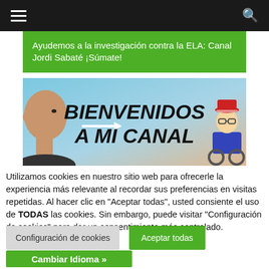☰  🔍
Ayudemos a la investigación contra la ELA: Canal Jordi Sabaté ¡Súmate!
[Figure (illustration): Welcome banner image with text 'BIENVENIDOS A MI CANAL', showing a bald man's head on the left, an arrow pointing right, and a cartoon character on the right sitting in a chair]
Utilizamos cookies en nuestro sitio web para ofrecerle la experiencia más relevante al recordar sus preferencias en visitas repetidas. Al hacer clic en "Aceptar todas", usted consiente el uso de TODAS las cookies. Sin embargo, puede visitar "Configuración de cookies" para dar un consentimiento más controlado.
Configuración de cookies
Aceptar todas
Cambiar Idioma »